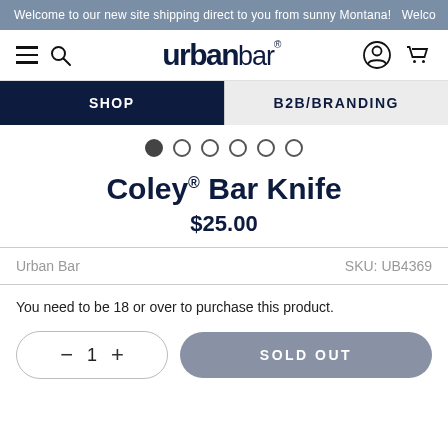Welcome to our new site shipping direct to you from sunny Montana! Welco
[Figure (logo): Urban Bar logo with hamburger menu, search icon, user icon, and cart icon]
SHOP
B2B/BRANDING
Coley® Bar Knife
$25.00
Urban Bar	SKU: UB4369
You need to be 18 or over to purchase this product.
− 1 + SOLD OUT